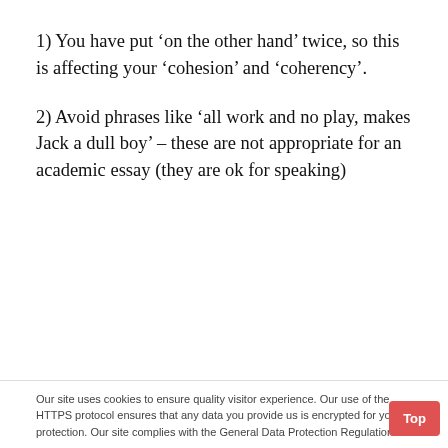1) You have put ‘on the other hand’ twice, so this is affecting your ‘cohesion’ and ‘coherency’.
2) Avoid phrases like ‘all work and no play, makes Jack a dull boy’ – these are not appropriate for an academic essay (they are ok for speaking)
Our site uses cookies to ensure quality visitor experience. Our use of the HTTPS protocol ensures that any data you provide us is encrypted for your protection. Our site complies with the General Data Protection Regulation